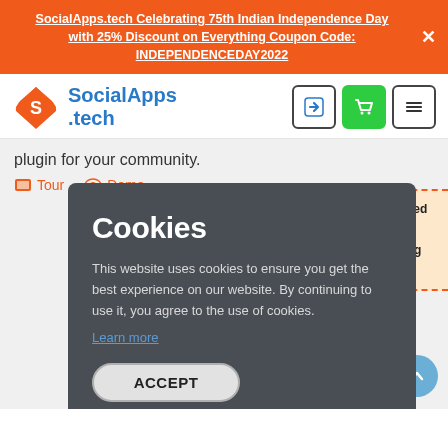SocialApps.tech Celebrating 75th Indian Independence Day with 25% Discount on Everything Coupon Code: INDEPENDENCEDAY2022
[Figure (logo): SocialApps.tech orange logo with S icon and blue text]
plugin for your community.
Tour   Demo
Cookies
This website uses cookies to ensure you get the best experience on our website. By continuing to use it, you agree to the use of cookies.
Learn more
ACCEPT
NO, GIVE ME MORE INFO
ed / added
e
res along
Now!!
Buy Now!!